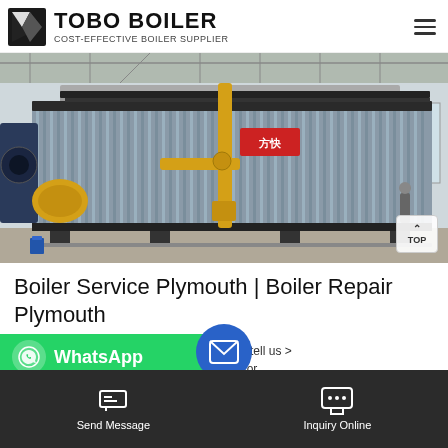TOBO BOILER — COST-EFFECTIVE BOILER SUPPLIER
[Figure (photo): Large industrial boiler with corrugated metal cladding and yellow gas piping, photographed inside a factory building. A 'TOP' button overlay is visible in the bottom-right corner of the image.]
Boiler Service Plymouth | Boiler Repair Plymouth
[Figure (other): WhatsApp contact button (green rounded bar) with WhatsApp icon and label, partially overlapping a blue email/message floating action button, plus partial text showing '...890...' and 'tell us...' and '...r S...for...']
Send Message    Inquiry Online